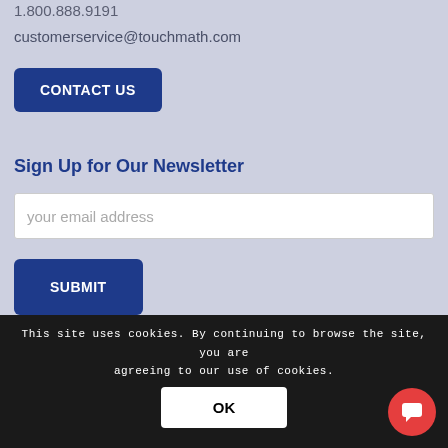1.800.888.9191
customerservice@touchmath.com
CONTACT US
Sign Up for Our Newsletter
your email address
SUBMIT
This site uses cookies. By continuing to browse the site, you are agreeing to our use of cookies.
OK